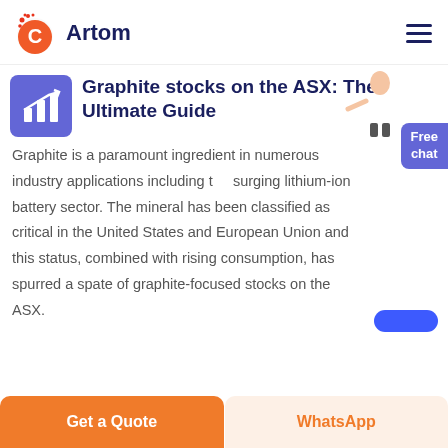Artom
Graphite stocks on the ASX: The Ultimate Guide
Graphite is a paramount ingredient in numerous industry applications including the surging lithium-ion battery sector. The mineral has been classified as critical in the United States and European Union and this status, combined with rising consumption, has spurred a spate of graphite-focused stocks on the ASX.
Get a Quote | WhatsApp